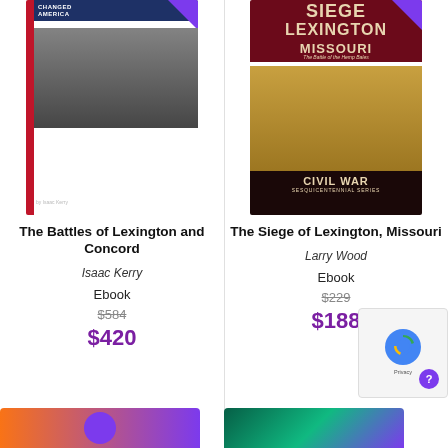[Figure (photo): Book cover: The Battles of Lexington and Concord by Isaac Kerry, dark blue cover with battle scene illustration]
The Battles of Lexington and Concord
Isaac Kerry
Ebook
$584
$420
[Figure (photo): Book cover: The Siege of Lexington, Missouri by Larry Wood, Civil War Sesquicentennial Series, dark red cover with battle scene]
The Siege of Lexington, Missouri
Larry Wood
Ebook
$229
$188